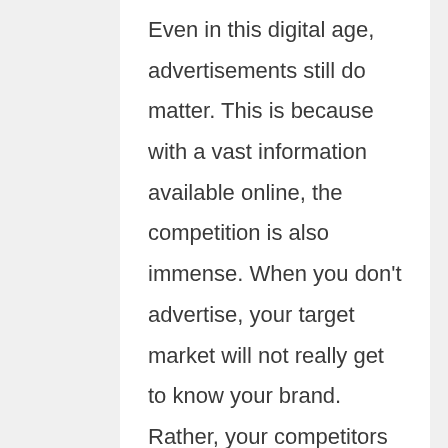Even in this digital age, advertisements still do matter. This is because with a vast information available online, the competition is also immense. When you don't advertise, your target market will not really get to know your brand. Rather, your competitors in the business that indeed do advertise will most likely be more known.